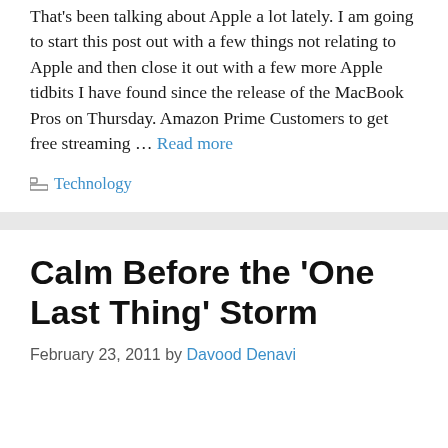That's been talking about Apple a lot lately. I am going to start this post out with a few things not relating to Apple and then close it out with a few more Apple tidbits I have found since the release of the MacBook Pros on Thursday. Amazon Prime Customers to get free streaming … Read more
Technology
Calm Before the 'One Last Thing' Storm
February 23, 2011 by Davood Denavi